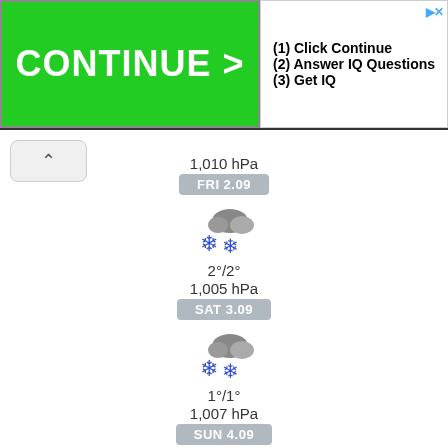[Figure (screenshot): Advertisement banner with green CONTINUE > button on left and IQ quiz steps on right: (1) Click Continue, (2) Answer IQ Questions, (3) Get IQ]
[Figure (infographic): Weather forecast screenshot showing Friday 2.09 through Monday 5.09 with snow/cloud icons, temperatures, and pressure readings]
1,010 hPa
FRI 2.09
2°/2°
1,005 hPa
SAT 3.09
1°/1°
1,007 hPa
SUN 4.09
2°/3°
1,011 hPa
MON 5.09